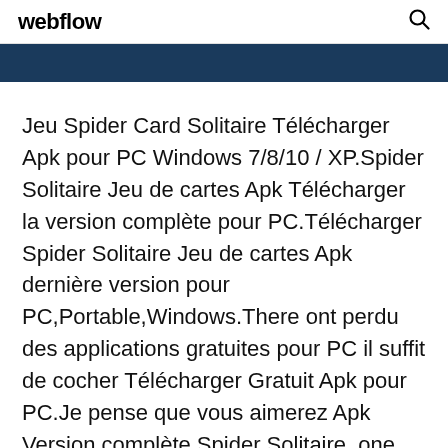webflow
Jeu Spider Card Solitaire Télécharger Apk pour PC Windows 7/8/10 / XP.Spider Solitaire Jeu de cartes Apk Télécharger la version complète pour PC.Télécharger Spider Solitaire Jeu de cartes Apk dernière version pour PC,Portable,Windows.There ont perdu des applications gratuites pour PC il suffit de cocher Télécharger Gratuit Apk pour PC.Je pense que vous aimerez Apk Version complète Spider Solitaire, one